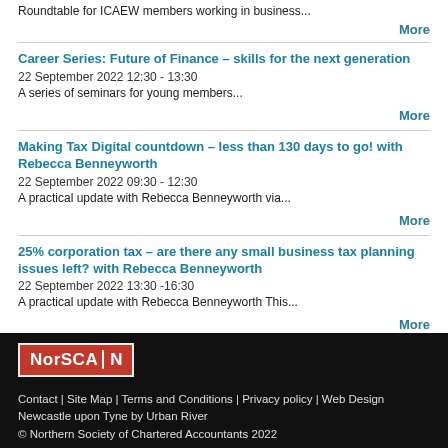Roundtable for ICAEW members working in business...
More
Career Series: Future of Finance – skills for the next generation
22 September 2022 12:30 - 13:30
A series of seminars for young members...
More
Making Tax Digital countdown – less than 130 days to go! with Rebecca Benneyworth
22 September 2022 09:30 - 12:30
A practical update with Rebecca Benneyworth via...
More
25% corporation tax – are there any small business tax planning issues left? with Rebecca Benneyworth
22 September 2022 13:30 -16:30
A practical update with Rebecca Benneyworth This...
More
Contact | Site Map | Terms and Conditions | Privacy policy | Web Design Newcastle upon Tyne by Urban River
© Northern Society of Chartered Accountants 2022